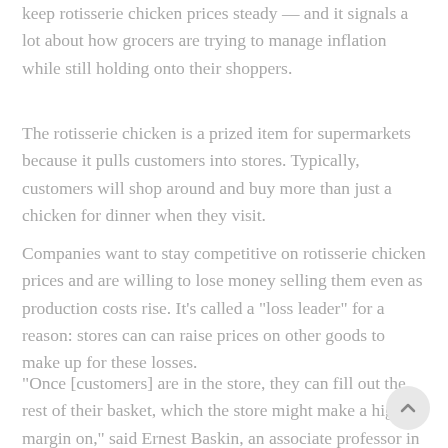keep rotisserie chicken prices steady — and it signals a lot about how grocers are trying to manage inflation while still holding onto their shoppers.
The rotisserie chicken is a prized item for supermarkets because it pulls customers into stores. Typically, customers will shop around and buy more than just a chicken for dinner when they visit.
Companies want to stay competitive on rotisserie chicken prices and are willing to lose money selling them even as production costs rise. It's called a "loss leader" for a reason: stores can can raise prices on other goods to make up for these losses.
"Once [customers] are in the store, they can fill out the rest of their basket, which the store might make a higher margin on," said Ernest Baskin, an associate professor in the department of food marketing at